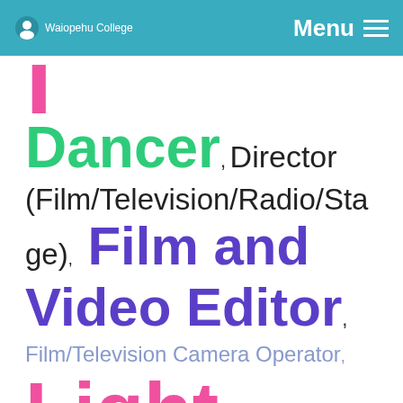Waiopehu College — Menu
j [clipped top of word]
Dancer, Director (Film/Television/Radio/Stage), Film and Video Editor, Film/Television Camera Operator, Light
Film/Television Camera Operator,
Light [clipped, continuing below]